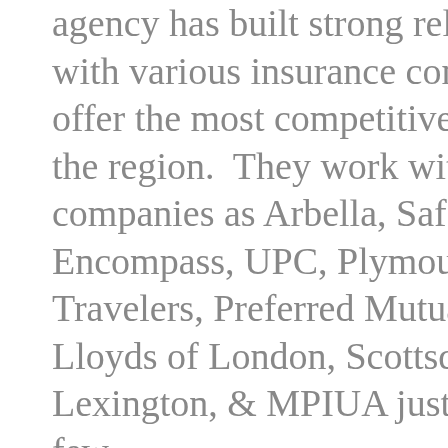agency has built strong relationships with various insurance companies to offer the most competitive policies in the region.  They work with such companies as Arbella, Safety, Encompass, UPC, Plymouth Rock, Travelers, Preferred Mutual, CNA, Lloyds of London, Scottsdale, Lexington, & MPIUA just to name a few.
Davidson Calfee, President of Calfee Insurance grew up in the insurance business by working part-time in the family business.